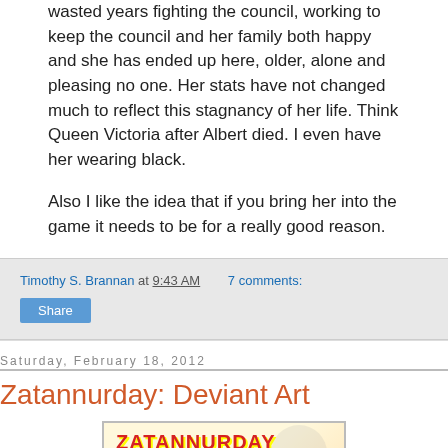wasted years fighting the council, working to keep the council and her family both happy and she has ended up here, older, alone and pleasing no one. Her stats have not changed much to reflect this stagnancy of her life. Think Queen Victoria after Albert died. I even have her wearing black.
Also I like the idea that if you bring her into the game it needs to be for a really good reason.
Timothy S. Brannan at 9:43 AM   7 comments:
Share
Saturday, February 18, 2012
Zatannurday: Deviant Art
[Figure (illustration): Zatannurday banner image with text 'ZATANNURDAY Every Saturday, just like magic!' and illustration of a woman]
Time to revist Deviant Art and see what is new. Or in other